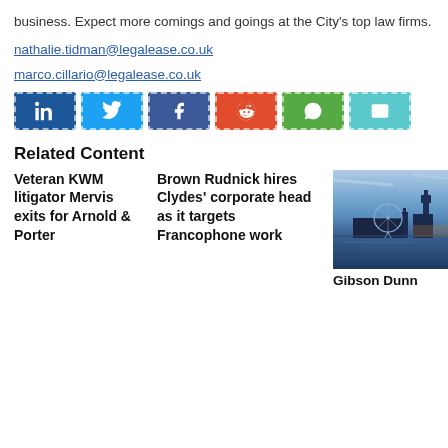business. Expect more comings and goings at the City's top law firms.
nathalie.tidman@legalease.co.uk
marco.cillario@legalease.co.uk
[Figure (other): Social share buttons: LinkedIn, Twitter, Facebook, Reddit, WhatsApp, Email]
Related Content
Veteran KWM litigator Mervis exits for Arnold & Porter
Brown Rudnick hires Clydes' corporate head as it targets Francophone work
[Figure (photo): Photo of London skyline at dusk showing the London Eye and Westminster/Big Ben area with water reflection]
Gibson Dunn